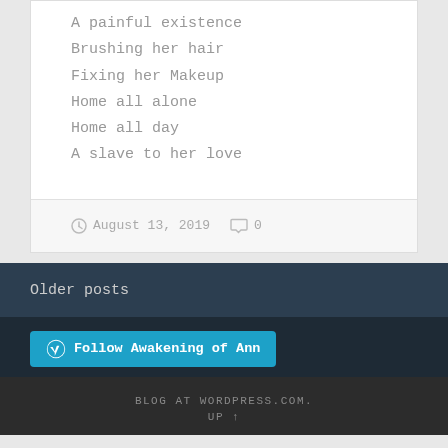A painful existence
Brushing her hair
Fixing her Makeup
Home all alone
Home all day
A slave to her love
August 13, 2019  0
Older posts
Follow Awakening of Ann
BLOG AT WORDPRESS.COM.
UP ↑